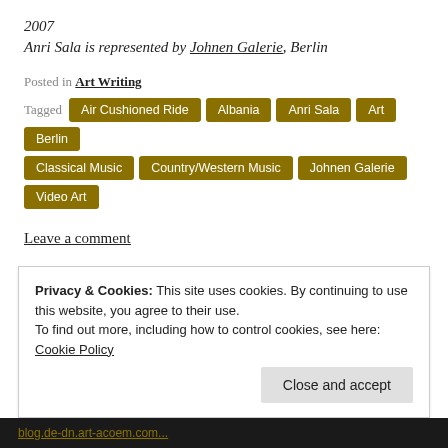2007
Anri Sala is represented by Johnen Galerie, Berlin
Posted in Art Writing
Tagged Air Cushioned Ride, Albania, Anri Sala, Art, Berlin, Classical Music, Country/Western Music, Johnen Galerie, Video Art
Leave a comment
Privacy & Cookies: This site uses cookies. By continuing to use this website, you agree to their use. To find out more, including how to control cookies, see here: Cookie Policy
Close and accept
blog.de-dn.art-acoem.com...